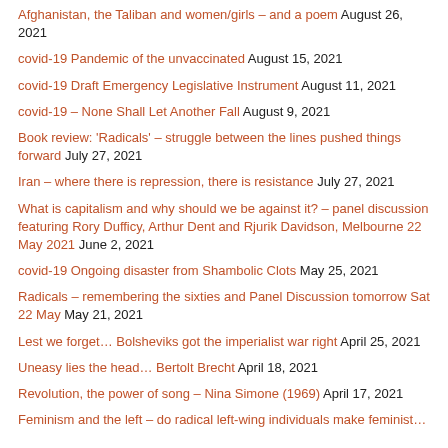Afghanistan, the Taliban and women/girls – and a poem August 26, 2021
covid-19 Pandemic of the unvaccinated August 15, 2021
covid-19 Draft Emergency Legislative Instrument August 11, 2021
covid-19 – None Shall Let Another Fall August 9, 2021
Book review: 'Radicals' – struggle between the lines pushed things forward July 27, 2021
Iran – where there is repression, there is resistance July 27, 2021
What is capitalism and why should we be against it? – panel discussion featuring Rory Dufficy, Arthur Dent and Rjurik Davidson, Melbourne 22 May 2021 June 2, 2021
covid-19 Ongoing disaster from Shambolic Clots May 25, 2021
Radicals – remembering the sixties and Panel Discussion tomorrow Sat 22 May May 21, 2021
Lest we forget… Bolsheviks got the imperialist war right April 25, 2021
Uneasy lies the head… Bertolt Brecht April 18, 2021
Revolution, the power of song – Nina Simone (1969) April 17, 2021
Feminism and the left – do radical left-wing individuals make feminist…